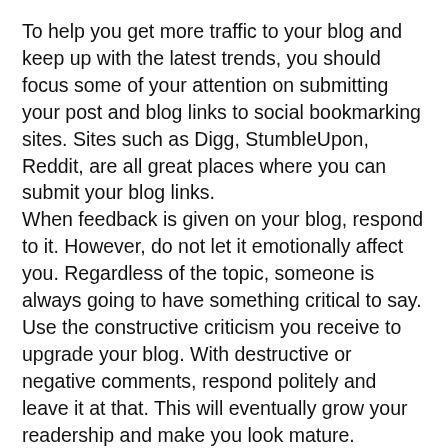To help you get more traffic to your blog and keep up with the latest trends, you should focus some of your attention on submitting your post and blog links to social bookmarking sites. Sites such as Digg, StumbleUpon, Reddit, are all great places where you can submit your blog links.
When feedback is given on your blog, respond to it. However, do not let it emotionally affect you. Regardless of the topic, someone is always going to have something critical to say. Use the constructive criticism you receive to upgrade your blog. With destructive or negative comments, respond politely and leave it at that. This will eventually grow your readership and make you look mature.
Try breaking your posts into manageable pieces. This is a very easy, but unfortunately ignored blogging tactic. Do not write like you are trying to run a marathon. Break up your posts in smaller pieces.This can help boost your SEO, and it can help create a